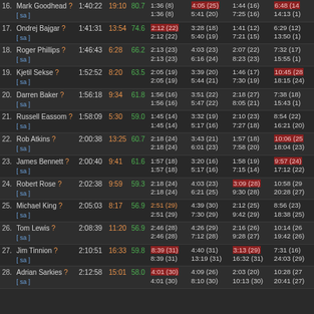| # | Name | Time | T2 | % | Swim | Bike | Run | Total |
| --- | --- | --- | --- | --- | --- | --- | --- | --- |
| 16. | Mark Goodhead ? | 1:40:22 | 19:10 | 80.7 | 1:36 (8)
1:36 (8) | 4:05 (25)
5:41 (20) | 1:44 (16)
7:25 (16) | 6:48 (14)
14:13 (1) |
| 17. | Ondrej Bajgar ? | 1:41:31 | 13:54 | 74.6 | 2:12 (22)
2:12 (22) | 3:28 (18)
5:40 (19) | 1:41 (12)
7:21 (15) | 6:29 (12)
13:50 (1) |
| 18. | Roger Phillips ? | 1:46:43 | 6:28 | 66.2 | 2:13 (23)
2:13 (23) | 4:03 (23)
6:16 (24) | 2:07 (22)
8:23 (23) | 7:32 (17)
15:55 (1) |
| 19. | Kjetil Sekse ? | 1:52:52 | 8:20 | 63.5 | 2:05 (19)
2:05 (19) | 3:39 (20)
5:44 (21) | 1:46 (17)
7:30 (19) | 10:45 (28)
18:15 (24) |
| 20. | Darren Baker ? | 1:56:18 | 9:34 | 61.8 | 1:56 (16)
1:56 (16) | 3:51 (22)
5:47 (22) | 2:18 (27)
8:05 (21) | 7:38 (18)
15:43 (1) |
| 21. | Russell Eassom ? | 1:58:09 | 5:30 | 59.0 | 1:45 (14)
1:45 (14) | 3:32 (19)
5:17 (16) | 2:10 (23)
7:27 (18) | 8:54 (22)
16:21 (20) |
| 22. | Rob Atkins ? | 2:00:38 | 13:25 | 60.7 | 2:18 (24)
2:18 (24) | 3:43 (21)
6:01 (23) | 1:57 (18)
7:58 (20) | 10:06 (25)
18:04 (23) |
| 23. | James Bennett ? | 2:00:40 | 9:41 | 61.6 | 1:57 (18)
1:57 (18) | 3:20 (16)
5:17 (16) | 1:58 (19)
7:15 (14) | 9:57 (24)
17:12 (22) |
| 24. | Robert Rose ? | 2:02:38 | 9:59 | 59.3 | 2:18 (24)
2:18 (24) | 4:03 (23)
6:21 (25) | 3:09 (28)
9:30 (28) | 10:58 (29)
20:28 (27) |
| 25. | Michael King ? | 2:05:03 | 8:17 | 56.9 | 2:51 (29)
2:51 (29) | 4:39 (30)
7:30 (29) | 2:12 (25)
9:42 (29) | 8:56 (23)
18:38 (25) |
| 26. | Tom Lewis ? | 2:08:39 | 11:20 | 56.9 | 2:46 (28)
2:46 (28) | 4:26 (29)
7:12 (28) | 2:16 (26)
9:28 (27) | 10:14 (26)
19:42 (26) |
| 27. | Jim Tinnion ? | 2:10:51 | 16:33 | 59.8 | 8:39 (31)
8:39 (31) | 4:40 (31)
13:19 (31) | 3:13 (29)
16:32 (31) | 7:31 (16)
24:03 (29) |
| 28. | Adrian Sarkies ? | 2:12:58 | 15:01 | 58.0 | 4:01 (30)
4:01 (30) | 4:09 (26)
8:10 (30) | 2:03 (20)
10:13 (30) | 10:28 (27)
20:41 (27) |